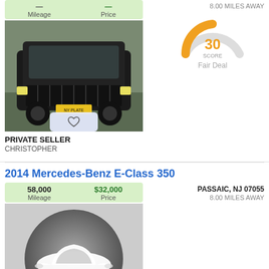[Figure (photo): Front view of a black Jeep Patriot parked outdoors]
Mileage | Price (truncated top)
[Figure (other): Gauge/score meter showing 30 score, Fair Deal, orange arc]
8.00 MILES AWAY
30 SCORE
Fair Deal
PRIVATE SELLER
CHRISTOPHER
2014 Mercedes-Benz E-Class 350
58,000 Mileage | $32,000 Price
PASSAIC, NJ 07055
8.00 MILES AWAY
[Figure (illustration): Gray circular placeholder with white car icon for Mercedes-Benz]
PRIVATE SELLER